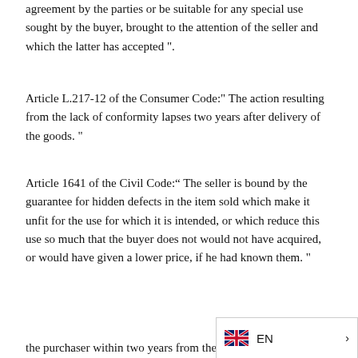agreement by the parties or be suitable for any special use sought by the buyer, brought to the attention of the seller and which the latter has accepted ".
Article L.217-12 of the Consumer Code:" The action resulting from the lack of conformity lapses two years after delivery of the goods. "
Article 1641 of the Civil Code:`` The seller is bound by the guarantee for hidden defects in the item sold which make it unfit for the use for which it is intended, or which reduce this use so much that the buyer does not would not have acquired, or would have given a lower price, if he had known them. "
[Figure (screenshot): Dark navigation bar with hamburger menu icon and MENU text, with English language selector showing UK flag and EN label]
the purchaser within two years from the discovery of